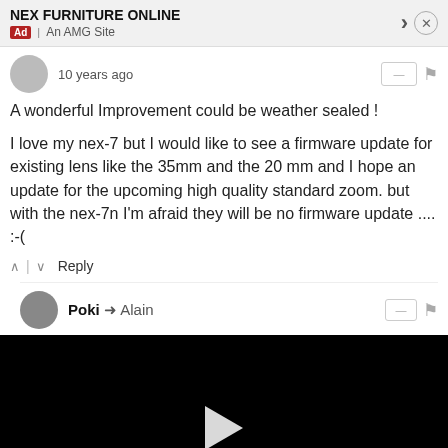NEX FURNITURE ONLINE | Ad | An AMG Site
10 years ago
A wonderful Improvement could be weather sealed !
I love my nex-7 but I would like to see a firmware update for existing lens like the 35mm and the 20 mm and I hope an update for the upcoming high quality standard zoom. but with the nex-7n I'm afraid they will be no firmware update .... :-(
Reply
Poki → Alain
[Figure (screenshot): Black video player area with a white play button triangle in the center]